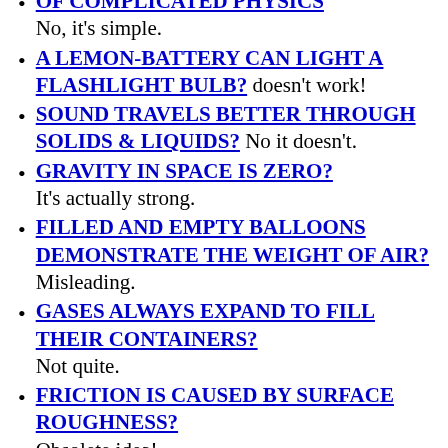OF COMPLICATED PHYSICS No, it's simple.
A LEMON-BATTERY CAN LIGHT A FLASHLIGHT BULB? doesn't work!
SOUND TRAVELS BETTER THROUGH SOLIDS & LIQUIDS? No it doesn't.
GRAVITY IN SPACE IS ZERO? It's actually strong.
FILLED AND EMPTY BALLOONS DEMONSTRATE THE WEIGHT OF AIR? Misleading.
GASES ALWAYS EXPAND TO FILL THEIR CONTAINERS? Not quite.
FRICTION IS CAUSED BY SURFACE ROUGHNESS? Obsolete idea!
ICE SKATES FUNCTION BY